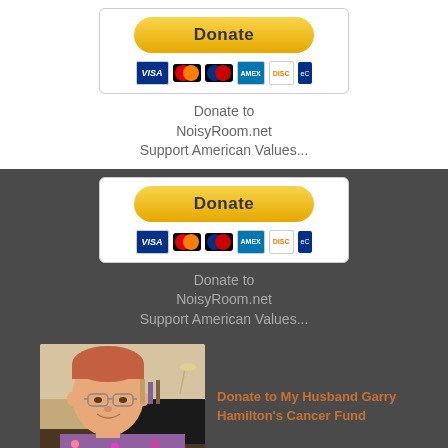[Figure (other): PayPal Donate button with credit card icons (VISA, Mastercard, Maestro, Amex, Discover, eCheck) on white background]
Donate to
NoisyRoom.net
Support American Values...
[Figure (other): PayPal Donate button with credit card icons on dark grey background]
Donate to
NoisyRoom.net
Support American Values...
[Figure (photo): Portrait photo of a middle-aged man with reddish hair and glasses, sitting in front of a desk, wearing a floral shirt]
Donate to My Husband Garry Hamilton's Cancer Fund
[Figure (logo): Partial logo visible at bottom on black background]